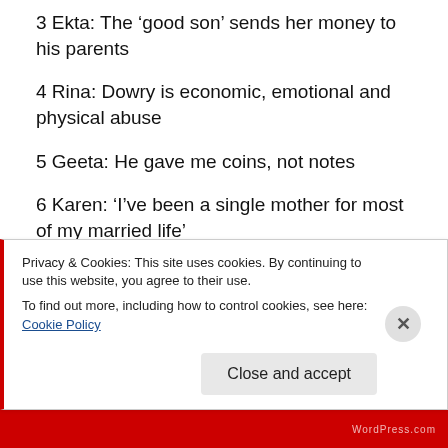3 Ekta: The ‘good son’ sends her money to his parents
4 Rina: Dowry is economic, emotional and physical abuse
5 Geeta: He gave me coins, not notes
6 Karen: ‘I’ve been a single mother for most of my married life’
7 Asha: ‘You now belong to my family and your money is mine’
8 Chitra: He and his family abused her for she did not
Privacy & Cookies: This site uses cookies. By continuing to use this website, you agree to their use.
To find out more, including how to control cookies, see here: Cookie Policy
Close and accept